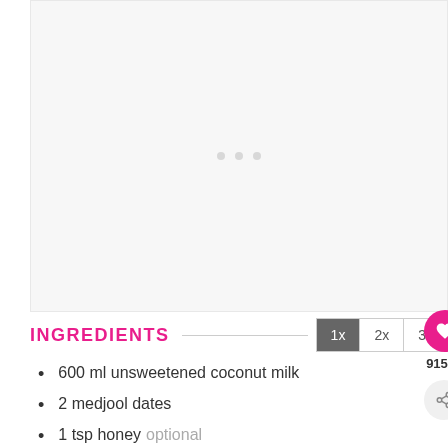[Figure (photo): Placeholder image area with loading dots, light gray background]
INGREDIENTS
600 ml unsweetened coconut milk
2 medjool dates
1 tsp honey optional